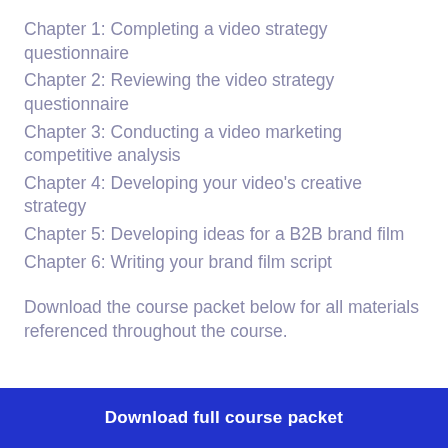Chapter 1: Completing a video strategy questionnaire
Chapter 2: Reviewing the video strategy questionnaire
Chapter 3: Conducting a video marketing competitive analysis
Chapter 4: Developing your video's creative strategy
Chapter 5: Developing ideas for a B2B brand film
Chapter 6: Writing your brand film script
Download the course packet below for all materials referenced throughout the course.
Download full course packet